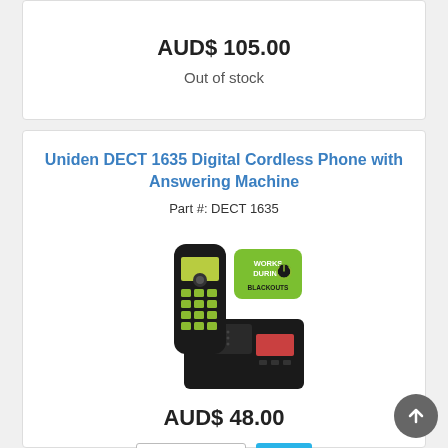AUD$ 105.00
Out of stock
Uniden DECT 1635 Digital Cordless Phone with Answering Machine
Part #: DECT 1635
[Figure (photo): Uniden DECT 1635 cordless phone with answering machine base and 'Works During Blackouts' badge]
AUD$ 48.00
1 (quantity selector) and add to cart button